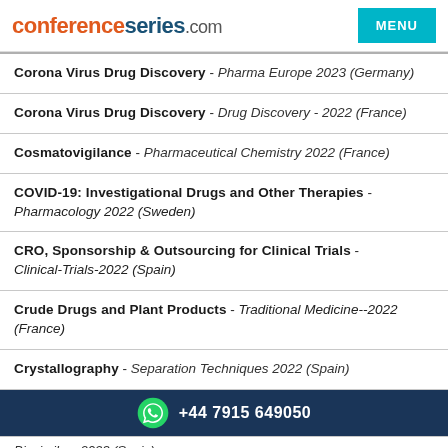conferenceseries.com
Corona Virus Drug Discovery - Pharma Europe 2023 (Germany)
Corona Virus Drug Discovery - Drug Discovery - 2022 (France)
Cosmatovigilance - Pharmaceutical Chemistry 2022 (France)
COVID-19: Investigational Drugs and Other Therapies - Pharmacology 2022 (Sweden)
CRO, Sponsorship & Outsourcing for Clinical Trials - Clinical-Trials-2022 (Spain)
Crude Drugs and Plant Products - Traditional Medicine--2022 (France)
Crystallography - Separation Techniques 2022 (Spain)
+44 7915 649050
Biosimilars 2023 (Spain)